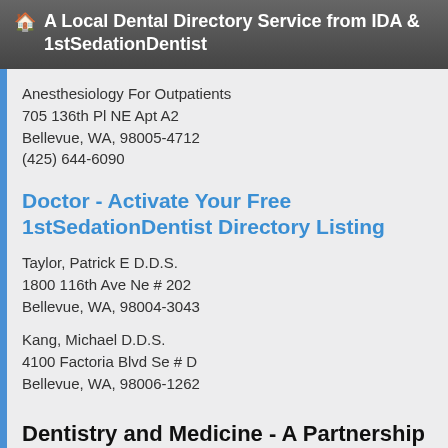A Local Dental Directory Service from IDA & 1stSedationDentist
Anesthesiology For Outpatients
705 136th Pl NE Apt A2
Bellevue, WA, 98005-4712
(425) 644-6090
Doctor - Activate Your Free 1stSedationDentist Directory Listing
Taylor, Patrick E D.D.S.
1800 116th Ave Ne # 202
Bellevue, WA, 98004-3043
Kang, Michael D.D.S.
4100 Factoria Blvd Se # D
Bellevue, WA, 98006-1262
Dentistry and Medicine - A Partnership for Your Oral Health
A world of opportunities for dental health